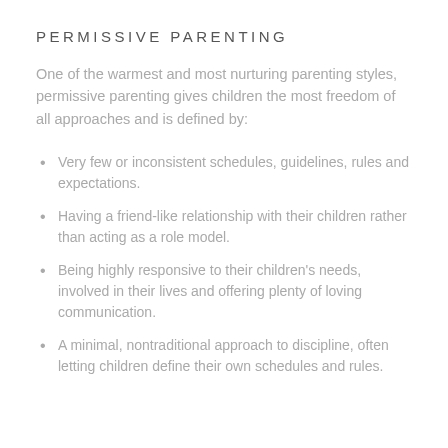PERMISSIVE PARENTING
One of the warmest and most nurturing parenting styles, permissive parenting gives children the most freedom of all approaches and is defined by:
Very few or inconsistent schedules, guidelines, rules and expectations.
Having a friend-like relationship with their children rather than acting as a role model.
Being highly responsive to their children's needs, involved in their lives and offering plenty of loving communication.
A minimal, nontraditional approach to discipline, often letting children define their own schedules and rules.